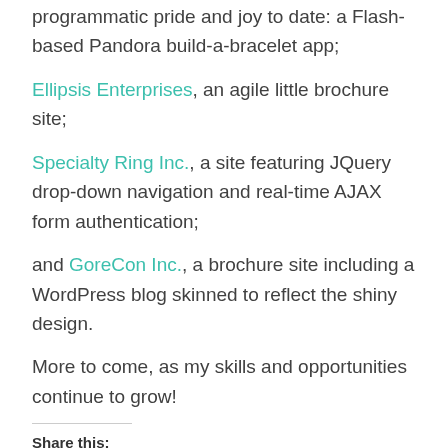programmatic pride and joy to date: a Flash-based Pandora build-a-bracelet app;
Ellipsis Enterprises, an agile little brochure site;
Specialty Ring Inc., a site featuring JQuery drop-down navigation and real-time AJAX form authentication;
and GoreCon Inc., a brochure site including a WordPress blog skinned to reflect the shiny design.
More to come, as my skills and opportunities continue to grow!
Share this:
[Figure (infographic): Twitter and Facebook social sharing icon buttons (circular blue icons)]
Like this: